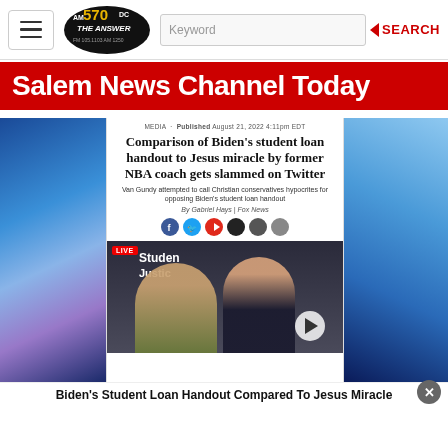AM 570 DC THE ANSWER | Keyword | SEARCH
Salem News Channel Today
[Figure (screenshot): Screenshot of a Fox News article titled 'Comparison of Biden's student loan handout to Jesus miracle by former NBA coach gets slammed on Twitter' with subheadline 'Van Gundy attempted to call Christian conservatives hypocrites for opposing Biden's student loan handout', byline 'By Gabriel Hays | Fox News', social share icons, and a video thumbnail showing two people with a 'Student Justice' banner and LIVE badge]
Biden's Student Loan Handout Compared To Jesus Miracle